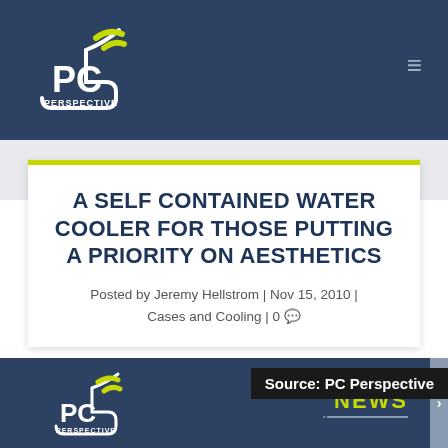PC Perspective — Navigation header with logo and hamburger menu
A SELF CONTAINED WATER COOLER FOR THOSE PUTTING A PRIORITY ON AESTHETICS
Posted by Jeremy Hellstrom | Nov 15, 2010 | Cases and Cooling | 0
Source: PC Perspective
[Figure (logo): PC Perspective logo — bottom section repeated logo with yellow signal/wifi marks and white PC PERSPECTIVE text on dark blue background, with NEWS label and decorative line]